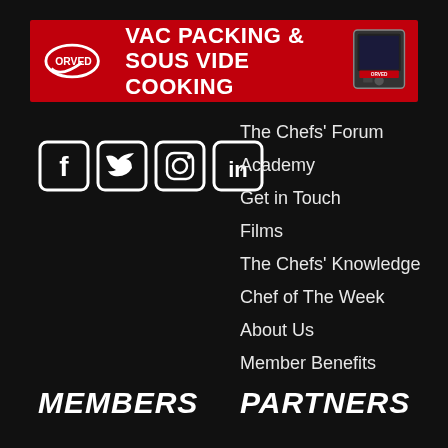[Figure (illustration): Orved VAC Packing & Sous Vide Cooking red banner advertisement with logo on left and device image on right]
[Figure (illustration): Social media icons: Facebook, Twitter, Instagram, LinkedIn in white outlined boxes]
The Chefs' Forum
Academy
Get in Touch
Films
The Chefs' Knowledge
Chef of The Week
About Us
Member Benefits
MEMBERS
PARTNERS